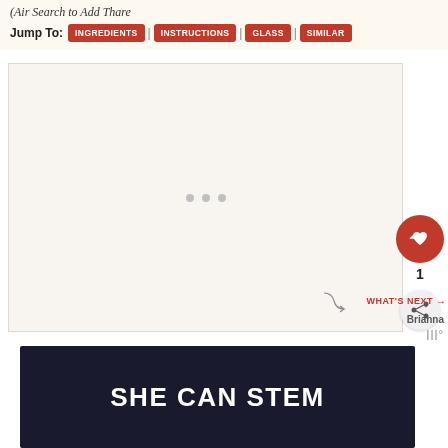(Air Search to Add Thare
Jump To: INGREDIENTS | INSTRUCTIONS | GLASS | SIMILAR
[Figure (photo): Large image area placeholder with loading dots, light beige background]
1
WHAT'S NEXT → Brianna
[Figure (illustration): SHE CAN STEM banner with dark navy background and bold white text]